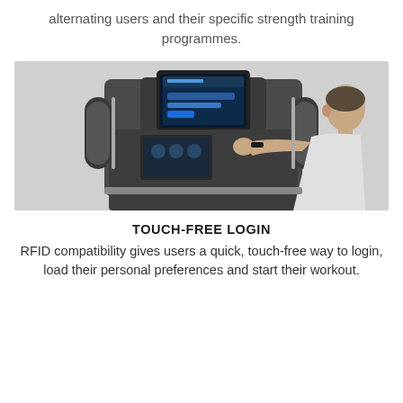alternating users and their specific strength training programmes.
[Figure (photo): A man reaching toward a fitness machine console with a touchscreen display showing a login interface. The machine is a large gym strength training equipment unit with a dark grey/silver finish.]
TOUCH-FREE LOGIN
RFID compatibility gives users a quick, touch-free way to login, load their personal preferences and start their workout.